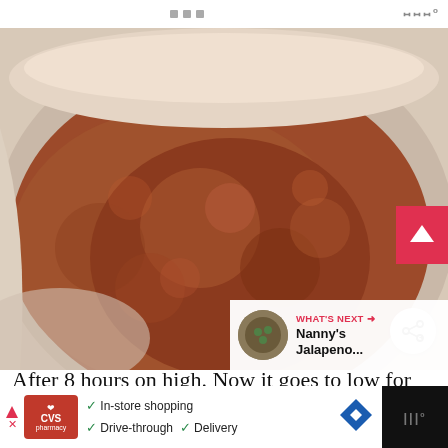• • •  [menu icon]
[Figure (photo): Close-up photo of a reddish-brown slow-cooker bean or chili mixture in a white ceramic bowl/crockpot, with a red scroll-up button overlay on the right and a share button, plus a 'What's Next: Nanny's Jalapeno...' panel in the bottom-right corner]
After 8 hours on high. Now it goes to low for 10
In-store shopping  Drive-through  Delivery  [CVS Pharmacy ad]